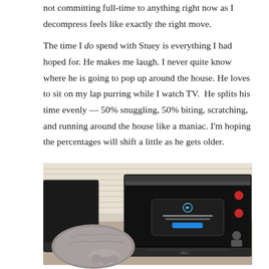not committing full-time to anything right now as I decompress feels like exactly the right move.

The time I do spend with Stuey is everything I had hoped for. He makes me laugh. I never quite know where he is going to pop up around the house. He loves to sit on my lap purring while I watch TV.  He splits his time evenly — 50% snuggling, 50% biting, scratching, and running around the house like a maniac. I'm hoping the percentages will shift a little as he gets older.
[Figure (photo): A cat resting near two laptops on a desk by a window with blinds. One laptop shows a video conferencing application screen, the other is partially visible on the left.]